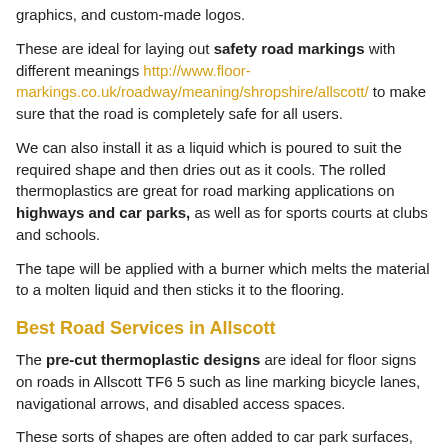graphics, and custom-made logos.
These are ideal for laying out safety road markings with different meanings http://www.floor-markings.co.uk/roadway/meaning/shropshire/allscott/ to make sure that the road is completely safe for all users.
We can also install it as a liquid which is poured to suit the required shape and then dries out as it cools. The rolled thermoplastics are great for road marking applications on highways and car parks, as well as for sports courts at clubs and schools.
The tape will be applied with a burner which melts the material to a molten liquid and then sticks it to the flooring.
Best Road Services in Allscott
The pre-cut thermoplastic designs are ideal for floor signs on roads in Allscott TF6 5 such as line marking bicycle lanes, navigational arrows, and disabled access spaces.
These sorts of shapes are often added to car park surfaces, and this is another location which we can work in - http://www.floor-